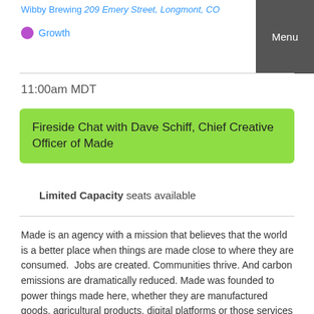Wibby Brewing 209 Emery Street, Longmont, CO
Growth
11:00am MDT
Fireside Chat with Dave Schiff, Chief Creative Officer of Made
Limited Capacity seats available
Made is an agency with a mission that believes that the world is a better place when things are made close to where they are consumed.  Jobs are created. Communities thrive. And carbon emissions are dramatically reduced. Made was founded to power things made here, whether they are manufactured goods, agricultural products, digital platforms or those services that create the most jobs.